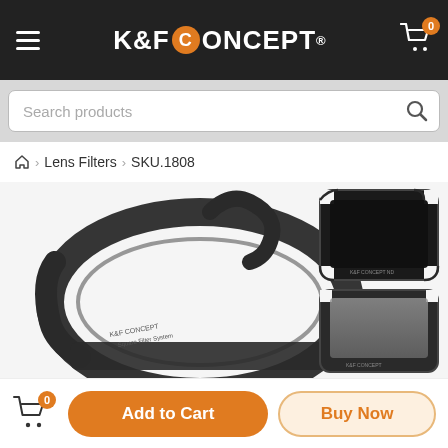K&F CONCEPT
Search products
Home > Lens Filters > SKU.1808
[Figure (photo): K&F Concept square filter holder system product photo showing a metal filter holder ring and two square ND filters of different densities]
Add to Cart
Buy Now